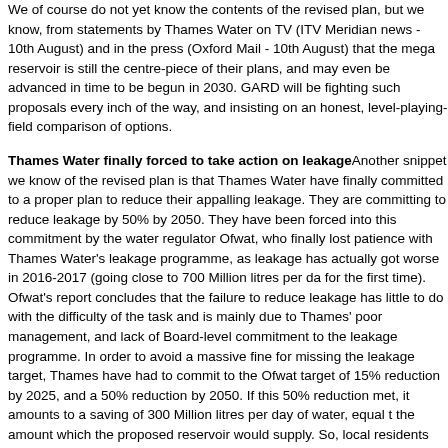We of course do not yet know the contents of the revised plan, but we know, from statements by Thames Water on TV (ITV Meridian news - 10th August) and in the press (Oxford Mail - 10th August) that the mega reservoir is still the centre-piece of their plans, and may even be advanced in time to be begun in 2030. GARD will be fighting such proposals every inch of the way, and insisting on an honest, level-playing-field comparison of options.
Thames Water finally forced to take action on leakageAnother snippet we know of the revised plan is that Thames Water have finally committed to a proper plan to reduce their appalling leakage. They are committing to reduce leakage by 50% by 2050. They have been forced into this commitment by the water regulator Ofwat, who finally lost patience with Thames Water's leakage programme, as leakage has actually got worse in 2016-2017 (going close to 700 Million litres per day for the first time). Ofwat's report concludes that the failure to reduce leakage has little to do with the difficulty of the task and is mainly due to Thames' poor management, and lack of Board-level commitment to the leakage programme. In order to avoid a massive fine for missing the leakage target, Thames have had to commit to the Ofwat target of 15% reduction by 2025, and a 50% reduction by 2050. If this 50% reduction met, it amounts to a saving of 300 Million litres per day of water, equal to the amount which the proposed reservoir would supply. So, local residents would be right in concluding that the case for the reservoir would be even harder to justify.